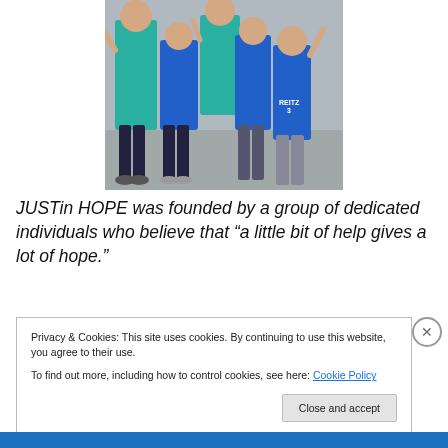[Figure (photo): Group photo of children and adults wearing blue and teal t-shirts, some with 'REITZ 3' printed on them, posing outdoors together.]
JUSTin HOPE was founded by a group of dedicated individuals who believe that “a little bit of help gives a lot of hope.”
Privacy & Cookies: This site uses cookies. By continuing to use this website, you agree to their use.
To find out more, including how to control cookies, see here: Cookie Policy
Close and accept